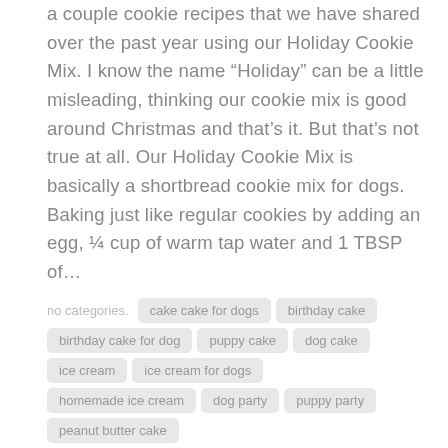a couple cookie recipes that we have shared over the past year using our Holiday Cookie Mix. I know the name “Holiday” can be a little misleading, thinking our cookie mix is good around Christmas and that’s it. But that’s not true at all. Our Holiday Cookie Mix is basically a shortbread cookie mix for dogs. Baking just like regular cookies by adding an egg, ¼ cup of warm tap water and 1 TBSP of…
no categories. cake cake for dogs birthday cake birthday cake for dog puppy cake dog cake ice cream ice cream for dogs homemade ice cream dog party puppy party peanut butter cake